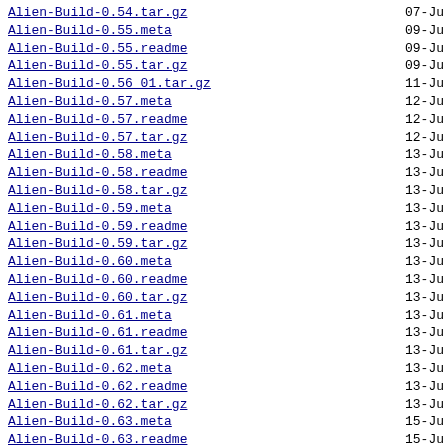Alien-Build-0.54.tar.gz  07-Ju
Alien-Build-0.55.meta  09-Ju
Alien-Build-0.55.readme  09-Ju
Alien-Build-0.55.tar.gz  09-Ju
Alien-Build-0.56 01.tar.gz  11-Ju
Alien-Build-0.57.meta  12-Ju
Alien-Build-0.57.readme  12-Ju
Alien-Build-0.57.tar.gz  12-Ju
Alien-Build-0.58.meta  13-Ju
Alien-Build-0.58.readme  13-Ju
Alien-Build-0.58.tar.gz  13-Ju
Alien-Build-0.59.meta  13-Ju
Alien-Build-0.59.readme  13-Ju
Alien-Build-0.59.tar.gz  13-Ju
Alien-Build-0.60.meta  13-Ju
Alien-Build-0.60.readme  13-Ju
Alien-Build-0.60.tar.gz  13-Ju
Alien-Build-0.61.meta  13-Ju
Alien-Build-0.61.readme  13-Ju
Alien-Build-0.61.tar.gz  13-Ju
Alien-Build-0.62.meta  13-Ju
Alien-Build-0.62.readme  13-Ju
Alien-Build-0.62.tar.gz  13-Ju
Alien-Build-0.63.meta  15-Ju
Alien-Build-0.63.readme  15-Ju
Alien-Build-0.63.tar.gz  15-Ju
Alien-Build-0.64 01.tar.gz  15-Ju
Alien-Build-0.65 01.tar.gz  16-Ju
Alien-Build-0.66.meta  17-Ju
Alien-Build-0.66.readme  17-Ju